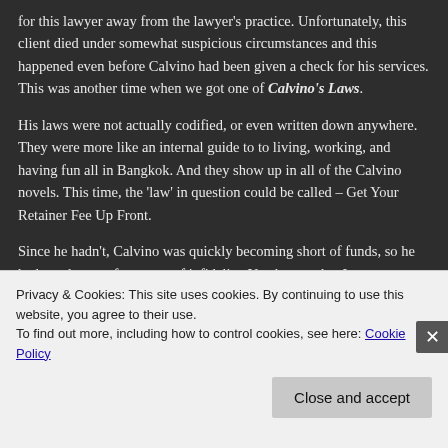for this lawyer away from the lawyer's practice. Unfortunately, this client died under somewhat suspicious circumstances and this happened even before Calvino had been given a check for his services. This was another time when we got one of Calvino's Laws.
His laws were not actually codified, or even written down anywhere. They were more like an internal guide to to living, working, and having fun all in Bangkok. And they show up in all of the Calvino novels. This time, the 'law' in question could be called – Get Your Retainer Fee Up Front.
Since he hadn't, Calvino was quickly becoming short of funds, so he had to take on a few cases of infidelity. You know what I mean. Married and rich ex-pat women who suspected that their husbands were keeping mistresses on
Privacy & Cookies: This site uses cookies. By continuing to use this website, you agree to their use.
To find out more, including how to control cookies, see here: Cookie Policy
Close and accept